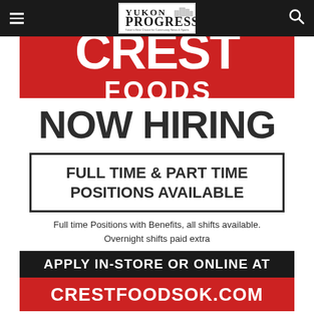Yukon Progress
[Figure (advertisement): Crest Foods Now Hiring advertisement. Red banner with CREST FOODS logo at top. Large dark text 'NOW HIRING'. Boxed text 'FULL TIME & PART TIME POSITIONS AVAILABLE'. Body text: 'Full time Positions with Benefits, all shifts available. Overnight shifts paid extra'. Black banner: 'APPLY IN-STORE OR ONLINE AT'. Red banner: 'CRESTFOODSOK.COM']